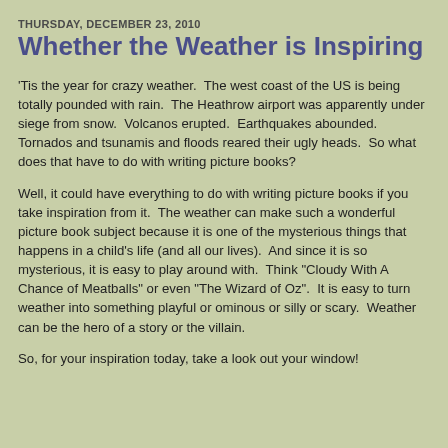THURSDAY, DECEMBER 23, 2010
Whether the Weather is Inspiring
'Tis the year for crazy weather.  The west coast of the US is being totally pounded with rain.  The Heathrow airport was apparently under siege from snow.  Volcanos erupted.  Earthquakes abounded.  Tornados and tsunamis and floods reared their ugly heads.  So what does that have to do with writing picture books?
Well, it could have everything to do with writing picture books if you take inspiration from it.  The weather can make such a wonderful picture book subject because it is one of the mysterious things that happens in a child's life (and all our lives).  And since it is so mysterious, it is easy to play around with.  Think "Cloudy With A Chance of Meatballs" or even "The Wizard of Oz".  It is easy to turn weather into something playful or ominous or silly or scary.  Weather can be the hero of a story or the villain.
So, for your inspiration today, take a look out your window!